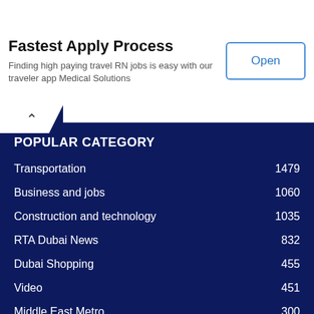Fastest Apply Process
Finding high paying travel RN jobs is easy with our traveler app Medical Solutions
Open
POPULAR CATEGORY
Transportation 1479
Business and jobs 1060
Construction and technology 1035
RTA Dubai News 832
Dubai Shopping 455
Video 451
Middle East Metro 300
Dubai Weather 167
Dubai Expo 2020 99